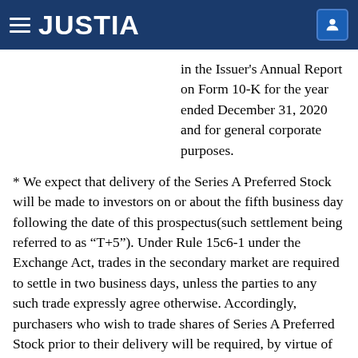JUSTIA
in the Issuer's Annual Report on Form 10-K for the year ended December 31, 2020 and for general corporate purposes.
* We expect that delivery of the Series A Preferred Stock will be made to investors on or about the fifth business day following the date of this prospectus(such settlement being referred to as “T+5”). Under Rule 15c6-1 under the Exchange Act, trades in the secondary market are required to settle in two business days, unless the parties to any such trade expressly agree otherwise. Accordingly, purchasers who wish to trade shares of Series A Preferred Stock prior to their delivery will be required, by virtue of the fact that the shares of Series A Preferred Stock initially settle in T+5, to specify an alternate settlement arrangement at the time of any